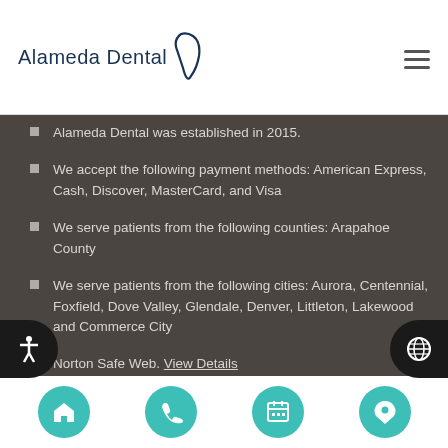Alameda Dental
Alameda Dental was established in 2015.
We accept the following payment methods: American Express, Cash, Discover, MasterCard, and Visa
We serve patients from the following counties: Arapahoe County
We serve patients from the following cities: Aurora, Centennial, Foxfield, Dove Valley, Glendale, Denver, Littleton, Lakewood and Commerce City
Norton Safe Web. View Details
Trend Micro Site Safety Center. View